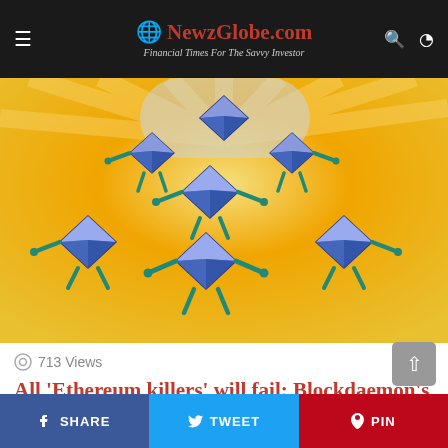🌐 NewzGlobe.com — Financial Times For The Savvy Investor
[Figure (illustration): Stylized illustration of multiple Ethereum diamond logo characters with teal/green robotic arms and legs, arranged in a pyramid formation against a yellow and blue sunburst background.]
713 Views
All 'Ethereum killers' will fail: Blockdaemon's Freddy Zwanzger
about a month ago
Leave a Reply